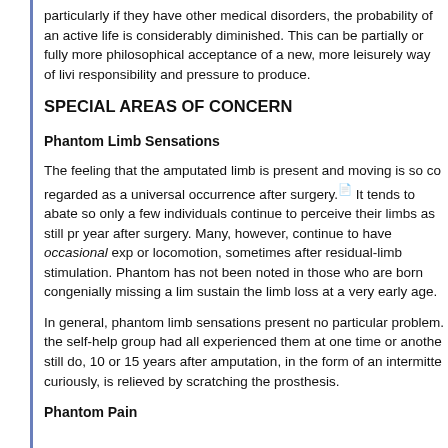particularly if they have other medical disorders, the probability of an active life is considerably diminished. This can be partially or fully more philosophical acceptance of a new, more leisurely way of living responsibility and pressure to produce.
SPECIAL AREAS OF CONCERN
Phantom Limb Sensations
The feeling that the amputated limb is present and moving is so common it is regarded as a universal occurrence after surgery. It tends to abate so only a few individuals continue to perceive their limbs as still present a year after surgery. Many, however, continue to have occasional experiences of locomotion, sometimes after residual-limb stimulation. Phantom sensation has not been noted in those who are born congenially missing a limb or who sustain the limb loss at a very early age.
In general, phantom limb sensations present no particular problem. Members of the self-help group had all experienced them at one time or another, and some still do, 10 or 15 years after amputation, in the form of an intermittent itch that, curiously, is relieved by scratching the prosthesis.
Phantom Pain